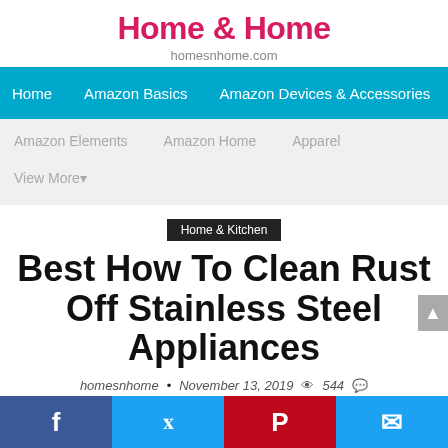Home & Home
homesnhome.com
Home   Amazon Basics   Amazon Devices & Accessories
Amazon Elements   Amazon Home   Apparel   View More
Home & Kitchen
Best How To Clean Rust Off Stainless Steel Appliances
homesnhome • November 13, 2019  544